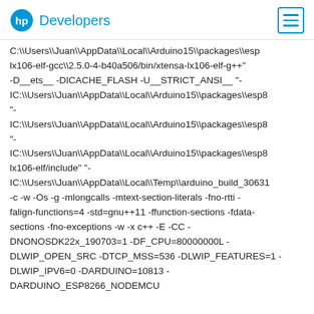HP Developers
C:\Users\Juan\AppData\Local\Arduino15\packages\esp lx106-elf-gcc\2.5.0-4-b40a506/bin/xtensa-lx106-elf-g++ -D__ets__ -DICACHE_FLASH -U__STRICT_ANSI__ "-IC:\Users\Juan\AppData\Local\Arduino15\packages\esp8" "- IC:\Users\Juan\AppData\Local\Arduino15\packages\esp8" "- IC:\Users\Juan\AppData\Local\Arduino15\packages\esp8 lx106-elf/include" "- IC:\Users\Juan\AppData\Local\Temp\arduino_build_30631 -c -w -Os -g -mlongcalls -mtext-section-literals -fno-rtti -falign-functions=4 -std=gnu++11 -ffunction-sections -fdata-sections -fno-exceptions -w -x c++ -E -CC -DNONOSDK22x_190703=1 -DF_CPU=80000000L -DLWIP_OPEN_SRC -DTCP_MSS=536 -DLWIP_FEATURES=1 -DLWIP_IPV6=0 -DARDUINO=10813 -DARDUINO_ESP8266_NODEMCU